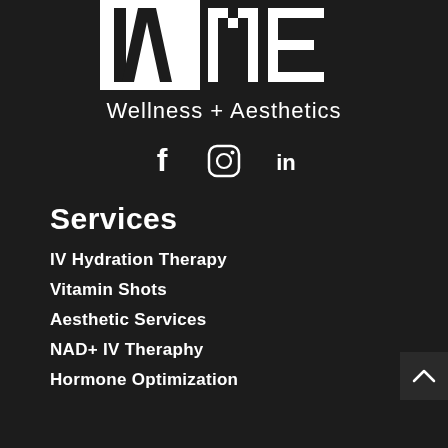[Figure (logo): IVME Wellness + Aesthetics logo — white geometric letters IV ME on dark background]
[Figure (infographic): Social media icons: Facebook (f), Instagram (camera), LinkedIn (in)]
Services
IV Hydration Therapy
Vitamin Shots
Aesthetic Services
NAD+ IV Theraphy
Hormone Optimization